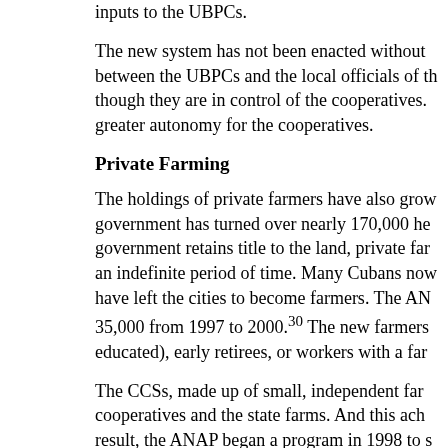inputs to the UBPCs.
The new system has not been enacted without between the UBPCs and the local officials of th though they are in control of the cooperatives. greater autonomy for the cooperatives.
Private Farming
The holdings of private farmers have also grow government has turned over nearly 170,000 he government retains title to the land, private far an indefinite period of time. Many Cubans now have left the cities to become farmers. The AN 35,000 from 1997 to 2000.30 The new farmers educated), early retirees, or workers with a far
The CCSs, made up of small, independent far cooperatives and the state farms. And this ach result, the ANAP began a program in 1998 to s cooperatives are now allowed to open bank ac collectively. Once qualified as strengthened, a ability to collectively market the goods of its me
Urban Agriculture
Another bright spot in the reforms is urban agri development that was later backed by official p Havana is grown in urban gardens. And urban